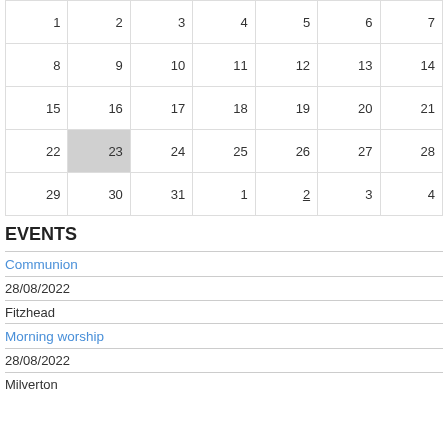| 1 | 2 | 3 | 4 | 5 | 6 | 7 |
| --- | --- | --- | --- | --- | --- | --- |
| 8 | 9 | 10 | 11 | 12 | 13 | 14 |
| 15 | 16 | 17 | 18 | 19 | 20 | 21 |
| 22 | 23 | 24 | 25 | 26 | 27 | 28 |
| 29 | 30 | 31 | 1 | 2 | 3 | 4 |
EVENTS
Communion
28/08/2022
Fitzhead
Morning worship
28/08/2022
Milverton